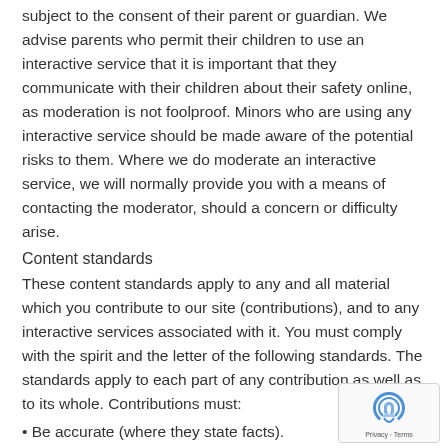subject to the consent of their parent or guardian. We advise parents who permit their children to use an interactive service that it is important that they communicate with their children about their safety online, as moderation is not foolproof. Minors who are using any interactive service should be made aware of the potential risks to them. Where we do moderate an interactive service, we will normally provide you with a means of contacting the moderator, should a concern or difficulty arise.
Content standards
These content standards apply to any and all material which you contribute to our site (contributions), and to any interactive services associated with it. You must comply with the spirit and the letter of the following standards. The standards apply to each part of any contribution as well as to its whole. Contributions must:
Be accurate (where they state facts).
Be genuinely held (where they state opinions).